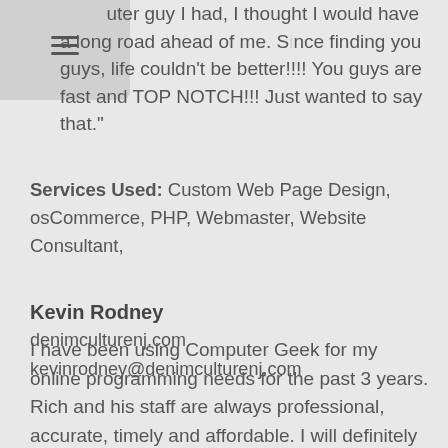computer guy I had, I thought I would have a long road ahead of me. Since finding you guys, life couldn't be better!!!! You guys are fast and TOP NOTCH!!! Just wanted to say that."
Services Used: Custom Web Page Design, osCommerce, PHP, Webmaster, Website Consultant,
Kevin Rodney
denimculturenj.com
kevinrodney@denimculturenj.com
I have been using Computer Geek for my online programming needs for the past 3 years. Rich and his staff are always professional, accurate, timely and affordable. I will definitely continue using them for years to come and would highly recommend Rich to anyone needing programming work.